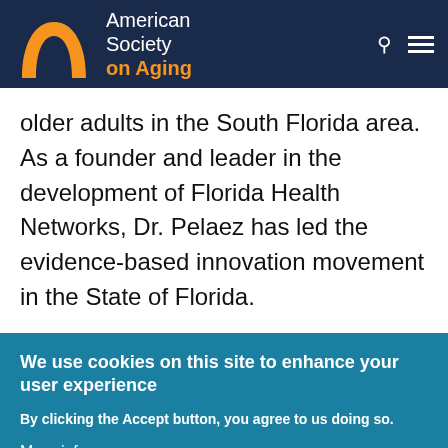American Society on Aging
older adults in the South Florida area. As a founder and leader in the development of Florida Health Networks, Dr. Pelaez has led the evidence-based innovation movement in the State of Florida.
We use cookies on this site to enhance your user experience
By clicking the Accept button, you agree to us doing so.
More info
Accept   No, thanks